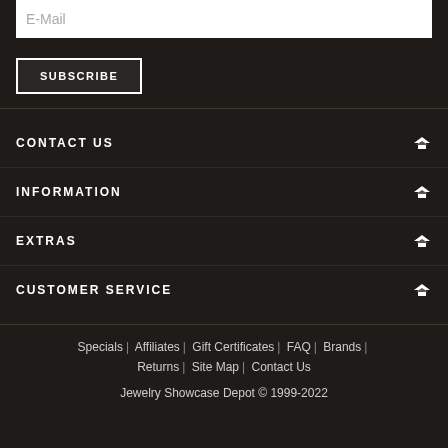E-Mail
SUBSCRIBE
CONTACT US
INFORMATION
EXTRAS
CUSTOMER SERVICE
Specials | Affiliates | Gift Certificates | FAQ | Brands | Returns | Site Map | Contact Us
Jewelry Showcase Depot © 1999-2022